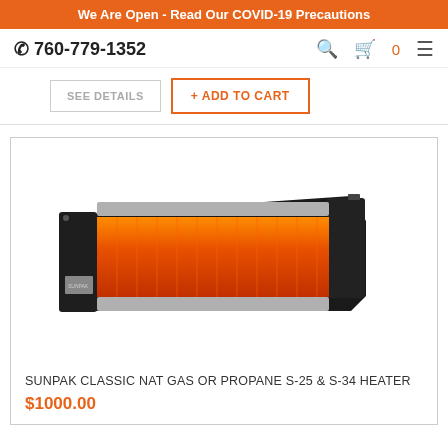We Are Open - Read Our COVID-19 Precautions
760-779-1352
SEE DETAILS  + ADD TO CART
[Figure (photo): Sunpak Classic infrared wall-mounted patio heater with black housing and orange glowing heating element panel]
SUNPAK CLASSIC NAT GAS OR PROPANE S-25 & S-34 HEATER
$1000.00